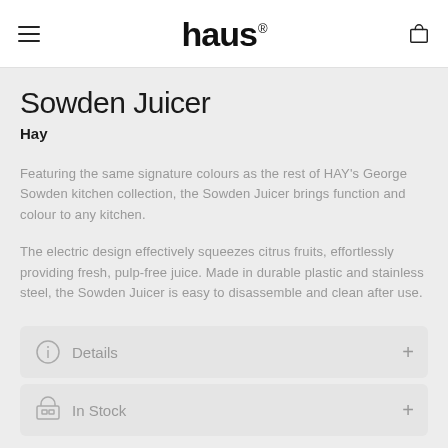haus
Sowden Juicer
Hay
Featuring the same signature colours as the rest of HAY's George Sowden kitchen collection, the Sowden Juicer brings function and colour to any kitchen.
The electric design effectively squeezes citrus fruits, effortlessly providing fresh, pulp-free juice. Made in durable plastic and stainless steel, the Sowden Juicer is easy to disassemble and clean after use.
Details
In Stock